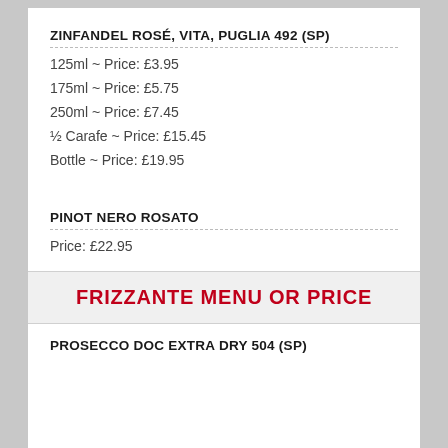ZINFANDEL ROSÉ, VITA, PUGLIA 492 (SP)
125ml ~ Price: £3.95
175ml ~ Price: £5.75
250ml ~ Price: £7.45
½ Carafe ~ Price: £15.45
Bottle ~ Price: £19.95
PINOT NERO ROSATO
Price: £22.95
FRIZZANTE MENU OR PRICE
PROSECCO DOC EXTRA DRY 504 (SP)